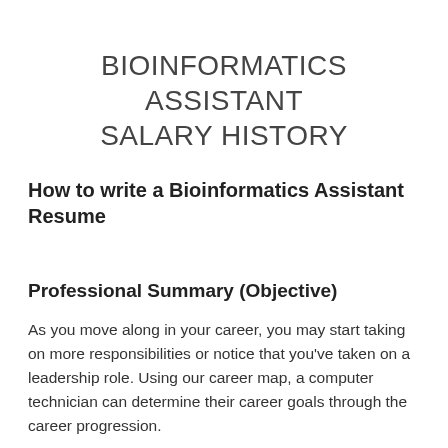BIOINFORMATICS ASSISTANT SALARY HISTORY
How to write a Bioinformatics Assistant Resume
Professional Summary (Objective)
As you move along in your career, you may start taking on more responsibilities or notice that you've taken on a leadership role. Using our career map, a computer technician can determine their career goals through the career progression.
For example, they could start out with a role such as technical